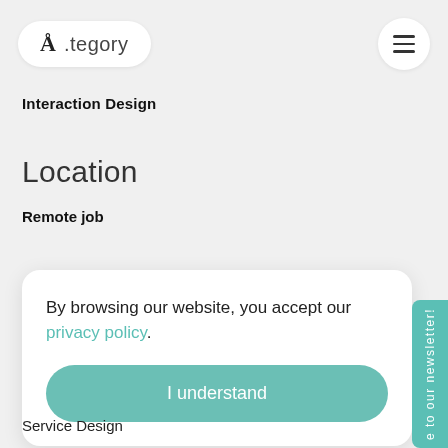Å .tegory
Interaction Design
Location
Remote job
By browsing our website, you accept our privacy policy.
I understand
Service Design